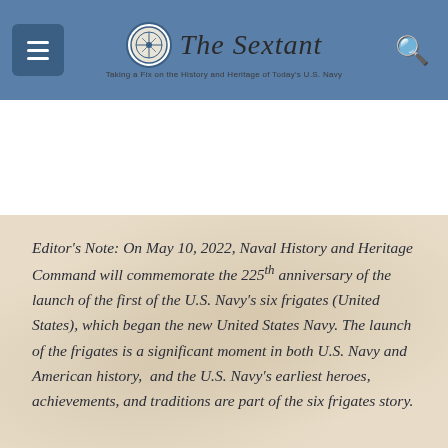The Sextant — Taking a Fix on the History and Heritage of Today's U.S. Navy
Editor's Note: On May 10, 2022, Naval History and Heritage Command will commemorate the 225th anniversary of the launch of the first of the U.S. Navy's six frigates (United States), which began the new United States Navy. The launch of the frigates is a significant moment in both U.S. Navy and American history,  and the U.S. Navy's earliest heroes, achievements, and traditions are part of the six frigates story.